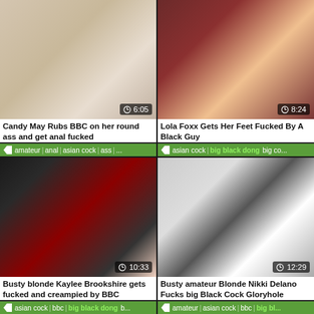[Figure (photo): Video thumbnail showing intimate scene, duration 6:05]
Candy May Rubs BBC on her round ass and get anal fucked
amateur | anal | asian cock | ass | ...
[Figure (photo): Video thumbnail showing feet scene, duration 8:24]
Lola Foxx Gets Her Feet Fucked By A Black Guy
asian cock | big black dong | big co...
[Figure (photo): Video thumbnail showing interracial scene, duration 10:33]
Busty blonde Kaylee Brookshire gets fucked and creampied by BBC
asian cock | bbc | big black dong | b...
[Figure (photo): Video thumbnail showing blonde in casting room, duration 12:29]
Busty amateur Blonde Nikki Delano Fucks big Black Cock Gloryhole
amateur | asian cock | bbc | big bl...